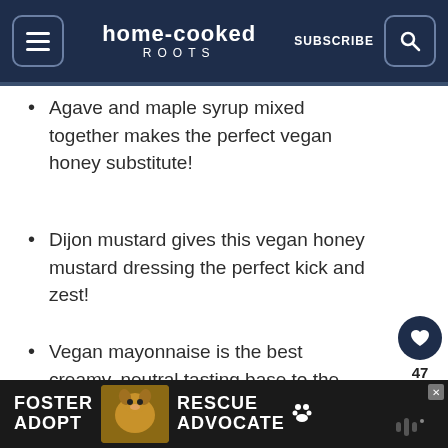home-cooked ROOTS — SUBSCRIBE
Agave and maple syrup mixed together makes the perfect vegan honey substitute!
Dijon mustard gives this vegan honey mustard dressing the perfect kick and zest!
Vegan mayonnaise is the best creamy, neutral tasting base to the dressing.
INGREDIENT NOTES AND POSSIBLE
[Figure (photo): Advertisement banner: Foster Adopt / Rescue Advocate with dog photo]
S